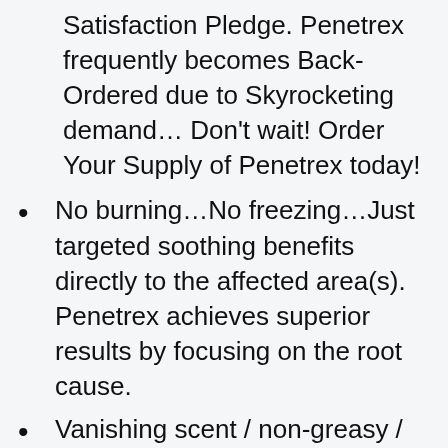Satisfaction Pledge. Penetrex frequently becomes Back-Ordered due to Skyrocketing demand… Don't wait! Order Your Supply of Penetrex today!
No burning…No freezing…Just targeted soothing benefits directly to the affected area(s). Penetrex achieves superior results by focusing on the root cause.
Vanishing scent / non-greasy / non-sticky / non-staining / paraben-free / Vegan and Cruelty-free (never tested on animals).
Apply Penetrex to your Back, Neck, Knee, Hand, Foot, and more. Penetrex is recommended for use on its own & is safe to use in